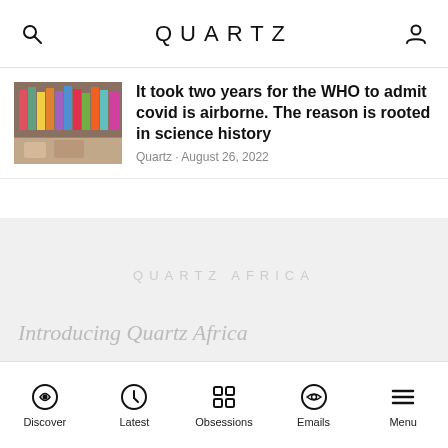QUARTZ
It took two years for the WHO to admit covid is airborne. The reason is rooted in science history
Quartz · August 26, 2022
[Figure (other): Watermark text reading QUARTZ AFRICA in light gray over a gray background area, with partial text 'Introducing Quartz Africa' in italic at bottom]
Discover  Latest  Obsessions  Emails  Menu